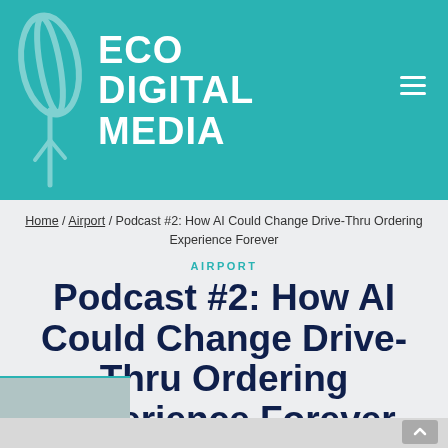ECO DIGITAL MEDIA
Home / Airport / Podcast #2: How AI Could Change Drive-Thru Ordering Experience Forever
AIRPORT
Podcast #2: How AI Could Change Drive-Thru Ordering Experience Forever